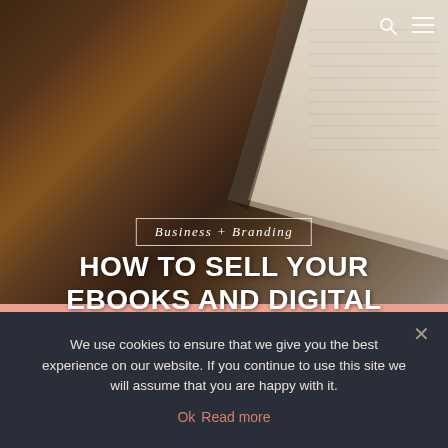[Figure (photo): Hero image of a person reading a book, seen from behind/side, with warm tones. Background shows book pages on right side.]
Business + Branding
HOW TO SELL YOUR EBOOKS AND DIGITAL PRODUCTS ONLINE (THE EASY WAY!)
We use cookies to ensure that we give you the best experience on our website. If you continue to use this site we will assume that you are happy with it.
Ok  Read more